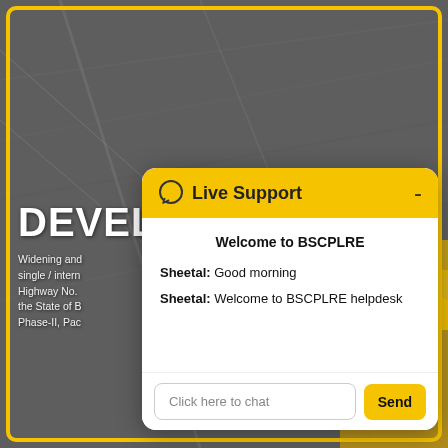[Figure (screenshot): Website screenshot showing a road/highway background image with a 'DEVEL' heading and text about widening and highway development in the State of Bihar, overlaid by a Live Support chat widget. The chat widget has a yellow header with a speech bubble icon and 'Live Support' title, a minimize button, and shows messages from Sheetal welcoming to BSCPLRE helpdesk. At the bottom is a chat input field saying 'Click here to chat' and a yellow 'Send' button.]